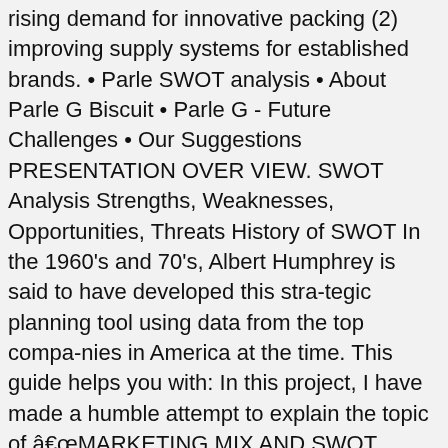rising demand for innovative packing (2) improving supply systems for established brands. • Parle SWOT analysis • About Parle G Biscuit • Parle G - Future Challenges • Our Suggestions PRESENTATION OVER VIEW. SWOT Analysis Strengths, Weaknesses, Opportunities, Threats History of SWOT In the 1960's and 70's, Albert Humphrey is said to have developed this stra-tegic planning tool using data from the top compa-nies in America at the time. This guide helps you with: In this project, I have made a humble attempt to explain the topic of â€œMARKETING MIX AND SWOT ANALYSIS OF PARLE COMPANY IN BISCUIT SECTORâ€ in a simple expressive manner. LinkedIn. Conventional management literature has references to SWOT frequently. File Format. VFM is the only value dimension which the consumers seem to be, Welingkar Institute of Management Development & Research. Details. Executing a SWOT analysis needs preparation so before getting down to business, try doing a "pre-SWOT" homework first. SWOT analysis helps the company to know about the opportunities and threats. SWOT Analysis: Theory SWOT is a strategic analytical tool for assessing strengths and weaknesses of